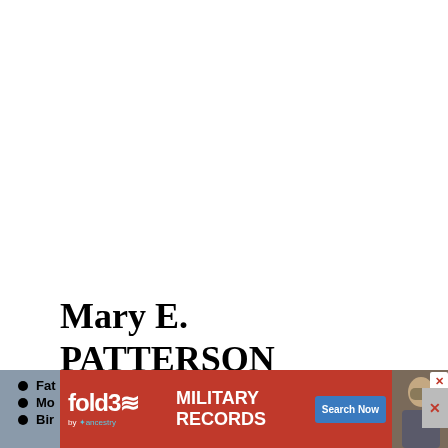Mary E. PATTERSON
Fat...
Mo...
Bir...
[Figure (other): fold3 by Ancestry advertisement banner for Military Records with Search Now button and soldier photo]